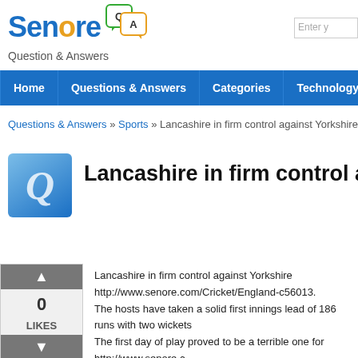[Figure (logo): Senore Q&A logo with speech bubbles and tagline 'Question & Answers']
Home | Questions & Answers | Categories | Technology
Questions & Answers » Sports » Lancashire in firm control against Yorkshire
Lancashire in firm control against Yo...
Lancashire in firm control against Yorkshire
http://www.senore.com/Cricket/England-c56013.
The hosts have taken a solid first innings lead of 186 runs with two wickets...
The first day of play proved to be a terrible one for http://www.senore.c...